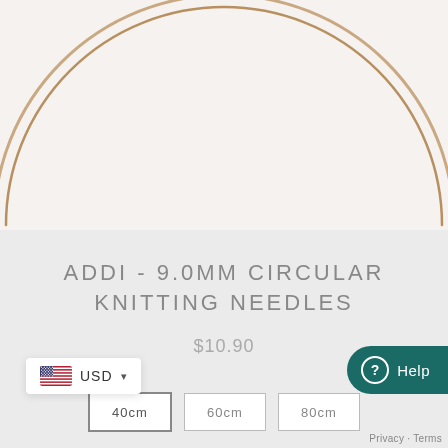[Figure (photo): Close-up photo of circular knitting needles forming a large circular arc on a light beige/white background. The needle cable is thin and metallic/gold-colored.]
ADDI - 9.0MM CIRCULAR KNITTING NEEDLES
$10.90
Size:
40cm
60cm
80cm
USD
Privacy · Terms